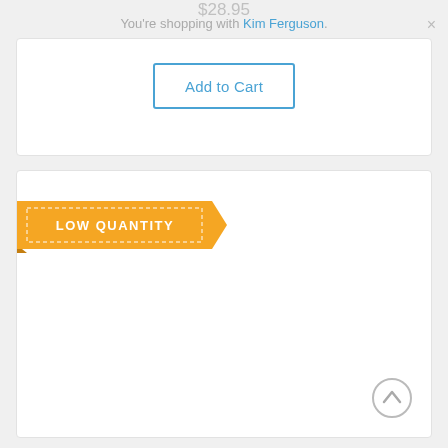$28.95
You're shopping with Kim Ferguson.
[Figure (screenshot): Add to Cart button with blue border and blue text on white background]
[Figure (infographic): Orange ribbon banner with text LOW QUANTITY and notched right edge, with dashed white border around text]
[Figure (other): Circular back-to-top button with upward chevron arrow, gray border]